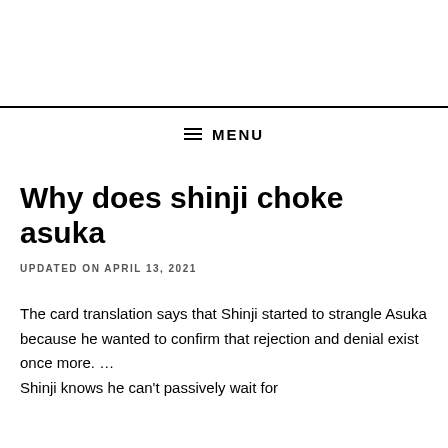Why does shinji choke asuka
UPDATED ON APRIL 13, 2021
The card translation says that Shinji started to strangle Asuka because he wanted to confirm that rejection and denial exist once more. … Shinji knows he can't passively wait for